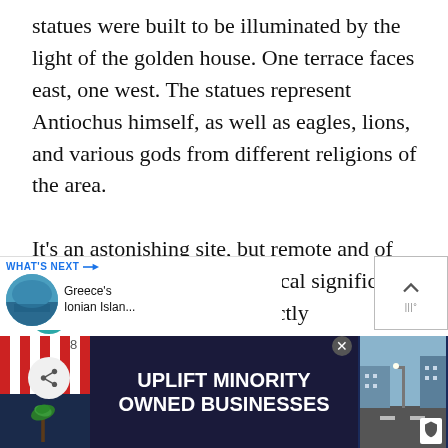statues were built to be illuminated by the light of the golden house. One terrace faces east, one west. The statues represent Antiochus himself, as well as eagles, lions, and various gods from different religions of the area.

It's an astonishing site, but remote and of (comparatively) little historical significance. Mount Nemrut isn't exactly undiscovered, it gets its fair share of tourists. But miles from anywhere, you have to be relatively determined to get to Mount Nemrut– or at least prepared to for a long time.
[Figure (screenshot): UI overlay with heart/favorite button (teal circle), share button, and 'What's Next' navigation showing Greece's Ionian Islands with a thumbnail photo]
[Figure (infographic): Advertisement banner: UPLIFT MINORITY OWNED BUSINESSES on dark navy background with illustrated storefront on left and street scene on right]